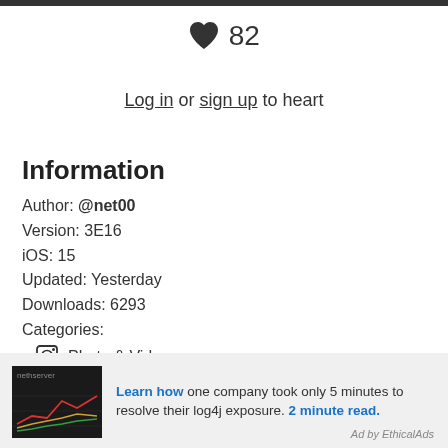[Figure (other): Heart icon with count 82]
Log in or sign up to heart
Information
Author: @net00
Version: 3E16
iOS: 15
Updated: Yesterday
Downloads: 6293
Categories:
Photo & Video
Utilities
[Figure (other): Advertisement banner: Learn how one company took only 5 minutes to resolve their log4j exposure. 2 minute read. Ad by EthicalAds]